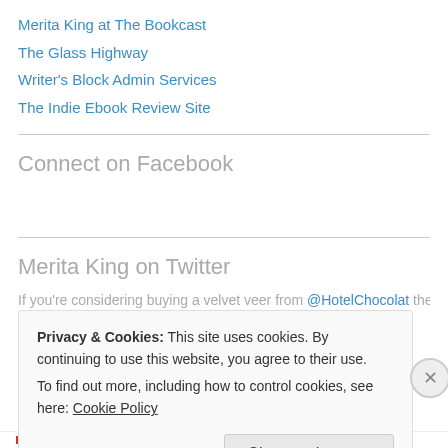Merita King at The Bookcast
The Glass Highway
Writer's Block Admin Services
The Indie Ebook Review Site
Connect on Facebook
Merita King on Twitter
If you're considering buying a velvet veer from @HotelChocolat then
Privacy & Cookies: This site uses cookies. By continuing to use this website, you agree to their use.
To find out more, including how to control cookies, see here: Cookie Policy
Close and accept